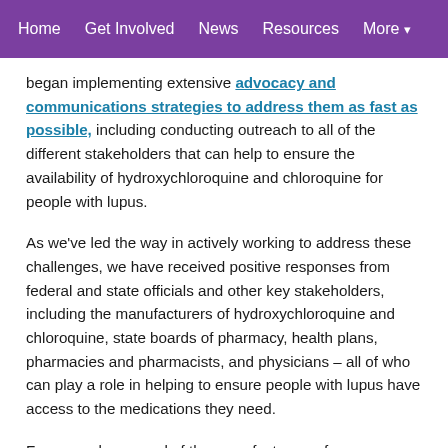Home   Get Involved   News   Resources   More ▾
began implementing extensive advocacy and communications strategies to address them as fast as possible, including conducting outreach to all of the different stakeholders that can help to ensure the availability of hydroxychloroquine and chloroquine for people with lupus.
As we've led the way in actively working to address these challenges, we have received positive responses from federal and state officials and other key stakeholders, including the manufacturers of hydroxychloroquine and chloroquine, state boards of pharmacy, health plans, pharmacies and pharmacists, and physicians – all of who can play a role in helping to ensure people with lupus have access to the medications they need.
For example, several of the manufacturers of hydroxychloroquine and chloroquine we have reached out to have publicly announced they are increasing drug supplies or making commitments to donate the medications to the federal